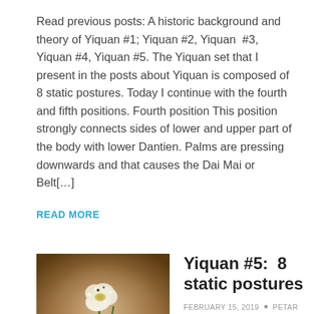Read previous posts: A historic background and theory of Yiquan #1; Yiquan #2, Yiquan #3, Yiquan #4, Yiquan #5. The Yiquan set that I present in the posts about Yiquan is composed of 8 static postures. Today I continue with the fourth and fifth positions. Fourth position This position strongly connects sides of lower and upper part of the body with lower Dantien. Palms are pressing downwards and that causes the Dai Mai or Belt[…]
READ MORE
[Figure (photo): Close-up photograph of a white flower with dewdrops on green stems against a warm brown bokeh background]
Yiquan #5:  8 static postures
FEBRUARY 15, 2019 • PETAR PRIKRATKI • 4 - QIGONG PRACTICE, QIGONG SETS AND EXERCISES